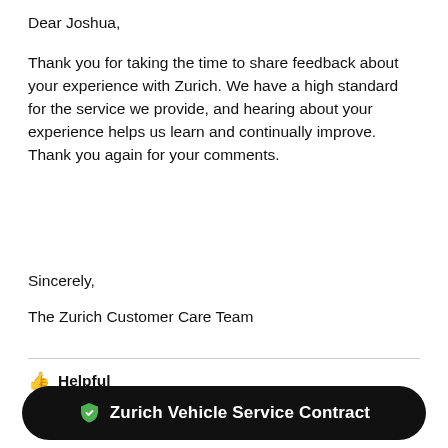Dear Joshua,
Thank you for taking the time to share feedback about your experience with Zurich. We have a high standard for the service we provide, and hearing about your experience helps us learn and continually improve. Thank you again for your comments.
Sincerely,
The Zurich Customer Care Team
👍 Helpful
Be the first one to find this review helpful
🛡 Zurich Vehicle Service Contract